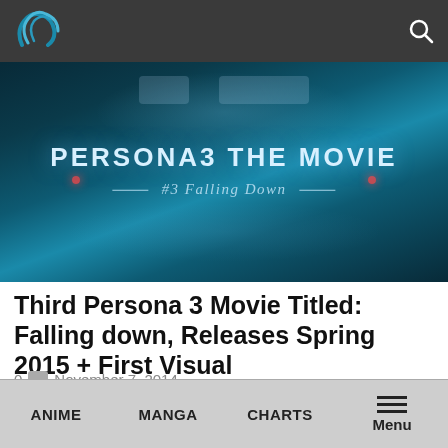Navigation bar with logo and search icon
[Figure (photo): Persona 3 The Movie promotional image with text 'PERSONA3 THE MOVIE' and subtitle '#3 Falling Down' on a dark teal background with glowing dots]
Third Persona 3 Movie Titled: Falling down, Releases Spring 2015 + First Visual
0  November 7, 2014
The official Twitter account and official website of the Persona 3 anime movie adaptations have revealed the title to the…
ANIME   MANGA   CHARTS   Menu